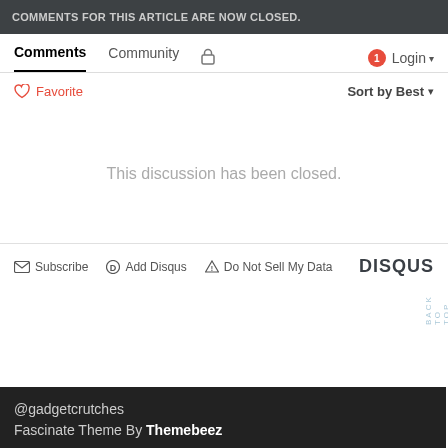COMMENTS FOR THIS ARTICLE ARE NOW CLOSED.
Comments  Community  🔒  1  Login
♡ Favorite    Sort by Best
This discussion has been closed.
✉ Subscribe  D Add Disqus  ⚠ Do Not Sell My Data  DISQUS
@gadgetcrutches
Fascinate Theme By Themebeez